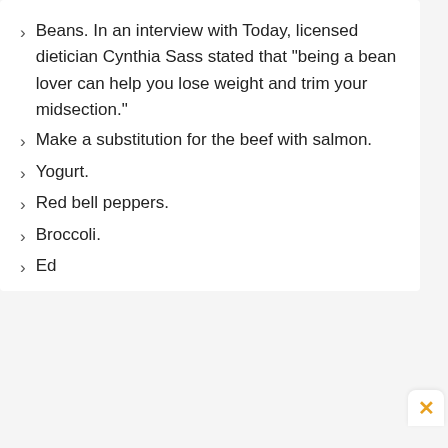Beans. In an interview with Today, licensed dietician Cynthia Sass stated that “being a bean lover can help you lose weight and trim your midsection.”
Make a substitution for the beef with salmon.
Yogurt.
Red bell peppers.
Broccoli.
Ed…